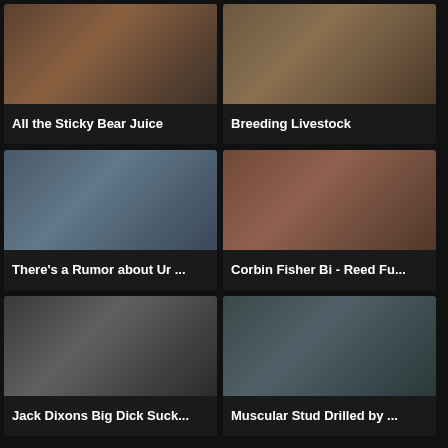[Figure (photo): Video thumbnail 1 - All the Sticky Bear Juice]
All the Sticky Bear Juice
[Figure (photo): Video thumbnail 2 - Breeding Livestock]
Breeding Livestock
[Figure (photo): Video thumbnail 3 - There's a Rumor about Ur ...]
There's a Rumor about Ur ...
[Figure (photo): Video thumbnail 4 - Corbin Fisher Bi - Reed Fu...]
Corbin Fisher Bi - Reed Fu...
[Figure (photo): Video thumbnail 5 - Jack Dixons Big Dick Suck...]
Jack Dixons Big Dick Suck...
[Figure (photo): Video thumbnail 6 - Muscular Stud Drilled by ...]
Muscular Stud Drilled by ...